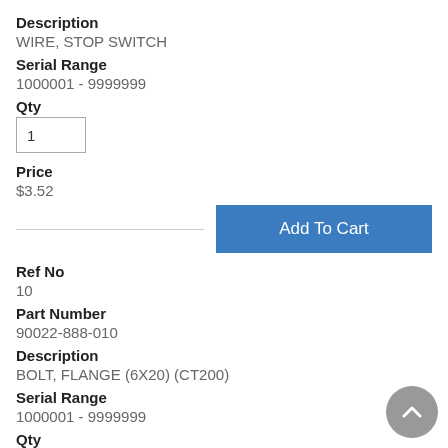Description
WIRE, STOP SWITCH
Serial Range
1000001 - 9999999
Qty
1
Price
$3.52
Add To Cart
Ref No
10
Part Number
90022-888-010
Description
BOLT, FLANGE (6X20) (CT200)
Serial Range
1000001 - 9999999
Qty